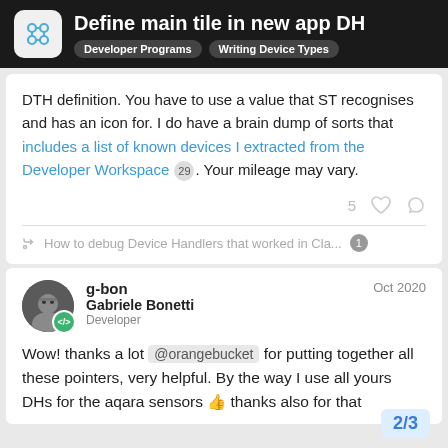Define main tile in new app DH — Developer Programs, Writing Device Types
DTH definition. You have to use a value that ST recognises and has an icon for. I do have a brain dump of sorts that includes a list of known devices I extracted from the Developer Workspace 29 . Your mileage may vary.
5 ♡ 🔗
🔗 How to debug Device Handlers that worked in Cla... 1
g-bon — Oct 2020
Gabriele Bonetti
Developer
Wow! thanks a lot @orangebucket for putting together all these pointers, very helpful. By the way I use all yours DHs for the aqara sensors 👍 thanks also for that
2 / 3